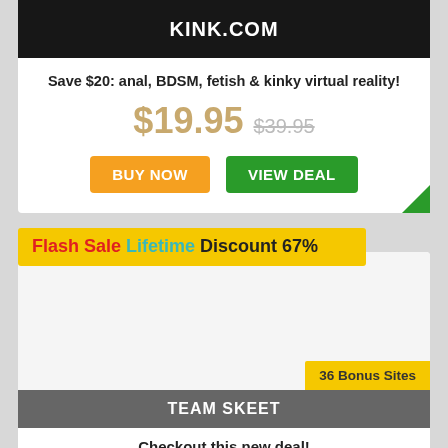KINK.COM
Save $20: anal, BDSM, fetish & kinky virtual reality!
$19.95  $39.95
BUY NOW  VIEW DEAL
Flash Sale Lifetime Discount 67%
[Figure (other): Blank image area for second card]
36 Bonus Sites
TEAM SKEET
Checkout this new deal!
$9.95  $29.95